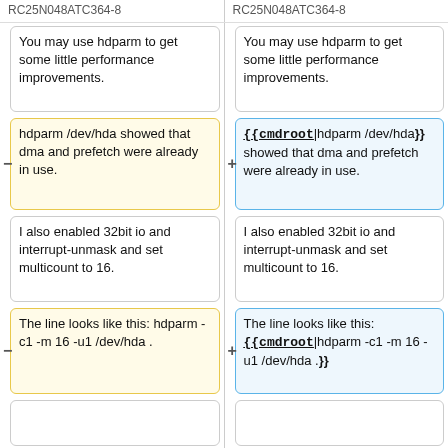RC25N048ATC364-8
RC25N048ATC364-8
You may use hdparm to get some little performance improvements.
You may use hdparm to get some little performance improvements.
hdparm /dev/hda showed that dma and prefetch were already in use.
{{cmdroot|hdparm /dev/hda}} showed that dma and prefetch were already in use.
I also enabled 32bit io and interrupt-unmask and set multicount to 16.
I also enabled 32bit io and interrupt-unmask and set multicount to 16.
The line looks like this: hdparm -c1 -m 16 -u1 /dev/hda .
The line looks like this: {{cmdroot|hdparm -c1 -m 16 -u1 /dev/hda .}}
(empty cell)
(empty cell)
Somebody wrote that you can also add -X69 as parameter, but I'd...
Somebody wrote that you can also add -X69 as parameter, but I'd...